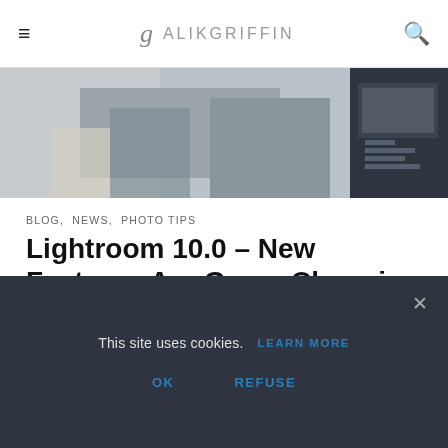ALIKGRIFFIN
[Figure (photo): Hero image showing a kitchen scene with someone cooking, overlaid with a Lightroom editing panel on the right side]
BLOG,  NEWS,  PHOTO TIPS
Lightroom 10.0 – New Features Are Game-Changing
OCTOBER 24, 2020  ·  ALIK
Lightroom has just released a nice update that brings in a few new features and performance improvements. Typically when Lightroom does their updates they are usually small little baby steps to a better product, which is great as it allows us to adjust
This site uses cookies.  LEARN MORE
OK    REFUSE